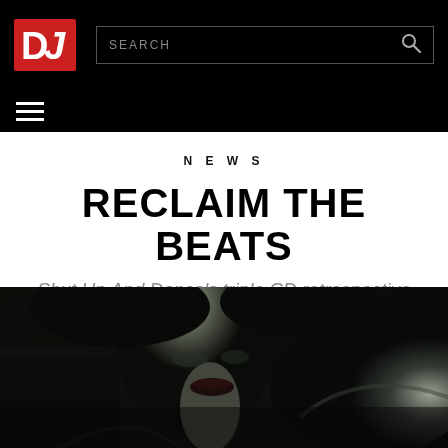DJ Mag navigation bar with logo and search
NEWS
RECLAIM THE BEATS
Shut Up And Dance's triple CD retrospective
[Figure (photo): Black and white moody photo of a woman in a leather jacket, lips parted, dark and atmospheric]